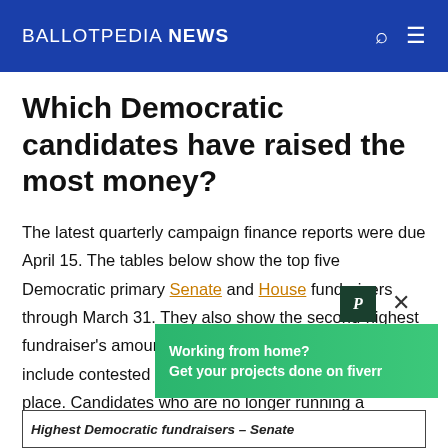BALLOTPEDIA NEWS
Which Democratic candidates have raised the most money?
The latest quarterly campaign finance reports were due April 15. The tables below show the top five Democratic primary Senate and House fundraisers through March 31. They also show the second-highest fundraiser's amount in each race listed. The tables only include contested primaries that have not yet taken place. Candidates who are no longer running are included.
[Figure (other): Fiverr advertisement banner: Working from home? Get your projects done on fiverr]
| Highest Democratic fundraisers – Senate |
| --- |